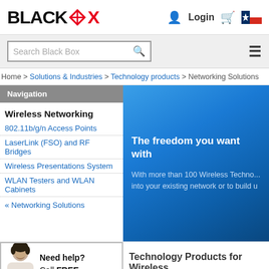[Figure (logo): Black Box logo with diamond icon in company name]
Login | Cart | Chile flag
[Figure (screenshot): Search Black Box input field with search icon and hamburger menu]
Home > Solutions & Industries > Technology products > Networking Solutions
Navigation
Wireless Networking
802.11b/g/n Access Points
LaserLink (FSO) and RF Bridges
Wireless Presentations System
WLAN Testers and WLAN Cabinets
« Networking Solutions
[Figure (illustration): Blue banner with text: The freedom you want with... and subtext about 100 Wireless Technology products]
[Figure (photo): Help person photo - person with headset]
Need help? Call FREE
Technology Products for Wireless